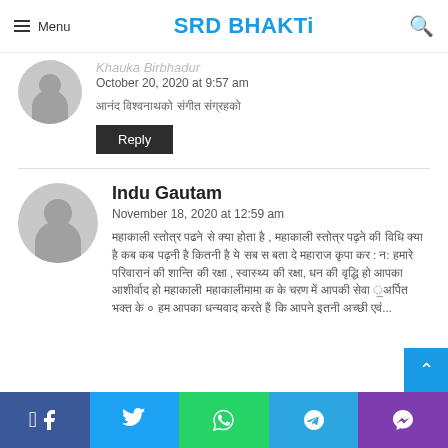Menu  SRD BHAKTi
Khauka Birbhadur
October 20, 2020 at 9:57 am
(Hindi text comment)
Reply
Indu Gautam
November 18, 2020 at 12:59 am
(Hindi text comment body)
Facebook Twitter WhatsApp Telegram Viber